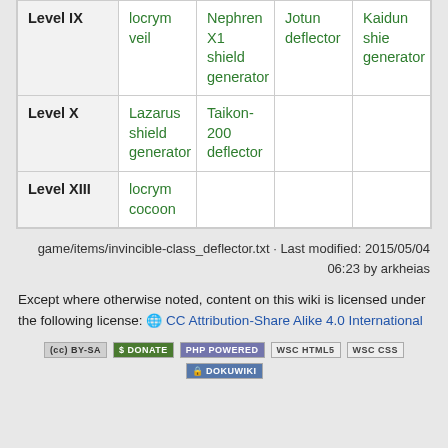| Level | Col1 | Col2 | Col3 | Col4 |
| --- | --- | --- | --- | --- |
| Level IX | locrym veil | Nephren X1 shield generator | Jotun deflector | Kaidun shie generator |
| Level X | Lazarus shield generator | Taikon-200 deflector |  |  |
| Level XIII | locrym cocoon |  |  |  |
game/items/invincible-class_deflector.txt · Last modified: 2015/05/04 06:23 by arkheias
Except where otherwise noted, content on this wiki is licensed under the following license: CC Attribution-Share Alike 4.0 International
[Figure (other): License and software badges: CC BY-SA, Donate, PHP Powered, WSC HTML5, WSC CSS, DokuWiki]